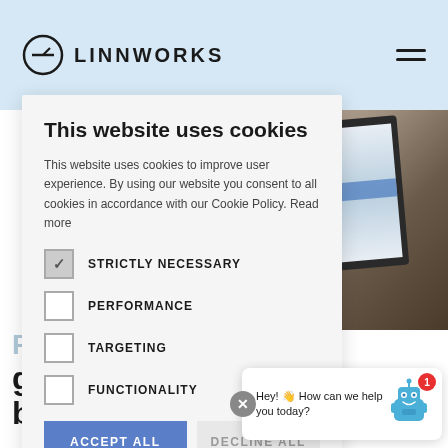[Figure (logo): Linnworks logo with circular icon and text LINNWORKS]
This website uses cookies
This website uses cookies to improve user experience. By using our website you consent to all cookies in accordance with our Cookie Policy. Read more
STRICTLY NECESSARY (checked)
PERFORMANCE
TARGETING
FUNCTIONALITY
ACCEPT ALL
DECLINE ALL
SHOW DETAILS
Hey! 👋 How can we help you today?
Find ou... grow your business.